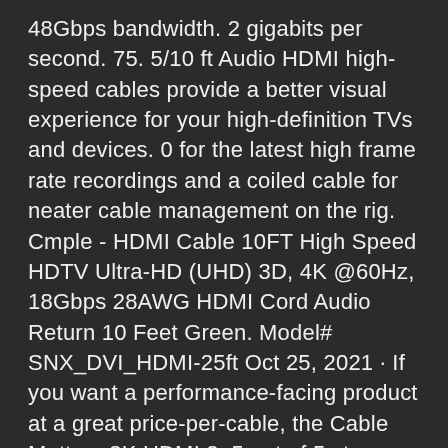48Gbps bandwidth. 2 gigabits per second. 75. 5/10 ft Audio HDMI high-speed cables provide a better visual experience for your high-definition TVs and devices. 0 for the latest high frame rate recordings and a coiled cable for neater cable management on the rig. Cmple - HDMI Cable 10FT High Speed HDTV Ultra-HD (UHD) 3D, 4K @60Hz, 18Gbps 28AWG HDMI Cord Audio Return 10 Feet Green. Model# SNX_DVI_HDMI-25ft Oct 25, 2021 · If you want a performance-facing product at a great price-per-cable, the Cable Matters 8K HDMI 2. 5 out of 5 stars with 72 ratings Oct 29, 2020 · Standard HDMI Cables are recommended for satellite television, screen projectors, DVD players, and other common displays. Though it doesn't boast the highest ratings for video signal or boast special shielding technology or noise reduction tricks, the Tripp Lite was still a good performer with gold-plated connectors and a